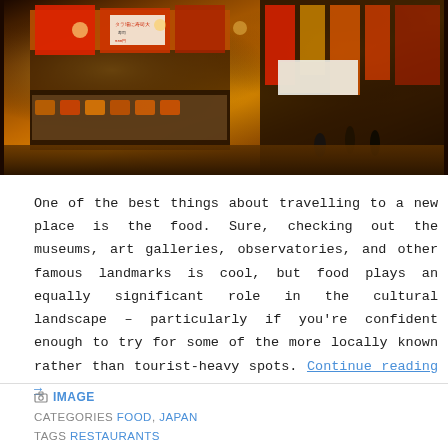[Figure (photo): Night street scene of a Japanese shopping district with illuminated signs, restaurant displays with food items, and pedestrians walking along a busy street lined with colorful neon signs]
One of the best things about travelling to a new place is the food. Sure, checking out the museums, art galleries, observatories, and other famous landmarks is cool, but food plays an equally significant role in the cultural landscape – particularly if you're confident enough to try for some of the more locally known rather than tourist-heavy spots. Continue reading →
📷 IMAGE
CATEGORIES FOOD, JAPAN
TAGS RESTAURANTS